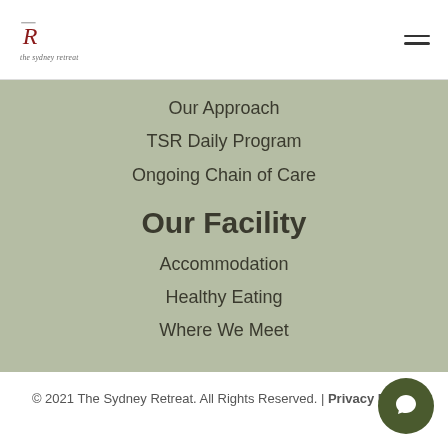The Sydney Retreat logo and navigation hamburger menu
Our Approach
TSR Daily Program
Ongoing Chain of Care
Our Facility
Accommodation
Healthy Eating
Where We Meet
© 2021 The Sydney Retreat. All Rights Reserved. | Privacy Policy